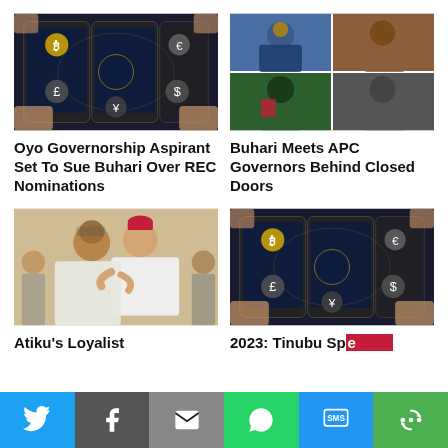[Figure (photo): Hands holding smartphones with cryptocurrency icons overlaid (Bitcoin, Euro, Pound, Dollar, Yen)]
Oyo Governorship Aspirant Set To Sue Buhari Over REC Nominations
[Figure (photo): Collage of four political figures including Buhari and APC governors in meeting]
Buhari Meets APC Governors Behind Closed Doors
[Figure (photo): Two men in Nigerian traditional attire embracing – one wearing red cap]
Atiku’s Loyalist
[Figure (photo): Hands holding smartphones with cryptocurrency icons overlaid (Bitcoin, Euro, Pound, Dollar, Yen)]
2023: Tinubu Sp…